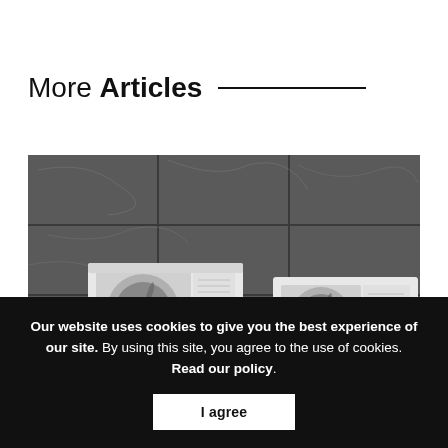More Articles
[Figure (photo): Two white air conditioning outdoor units mounted against a dark grey marble tile wall]
Our website uses cookies to give you the best experience of our site. By using this site, you agree to the use of cookies. Read our policy.
I agree